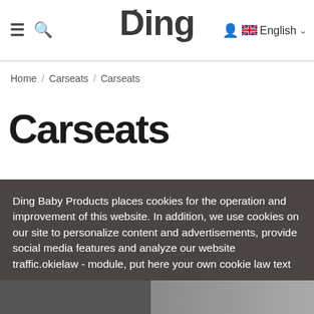≡  🔍  Ding  👤 🇬🇧 English ▾
Home / Carseats / Carseats
Carseats
Ding Baby Products places cookies for the operation and improvement of this website. In addition, we use cookies on our site to personalize content and advertisements, provide social media features and analyze our website traffic.okielaw - module, put here your own cookie law text
Accept
[Figure (photo): Bottom strip showing partial product images at the bottom of the page]